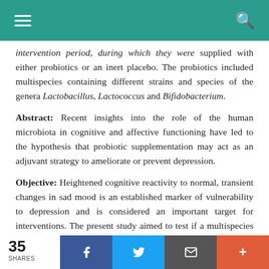[Navigation bar with hamburger menu and search icon]
intervention period, during which they were supplied with either probiotics or an inert placebo. The probiotics included multispecies containing different strains and species of the genera Lactobacillus, Lactococcus and Bifidobacterium.
Abstract: Recent insights into the role of the human microbiota in cognitive and affective functioning have led to the hypothesis that probiotic supplementation may act as an adjuvant strategy to ameliorate or prevent depression.
Objective: Heightened cognitive reactivity to normal, transient changes in sad mood is an established marker of vulnerability to depression and is considered an important target for interventions. The present study aimed to test if a multispecies probiotic containing Bifidobacterium bifidum W23, Bifidobacterium lactis W52,
35 SHARES  [Facebook] [Twitter] [Email] [+]